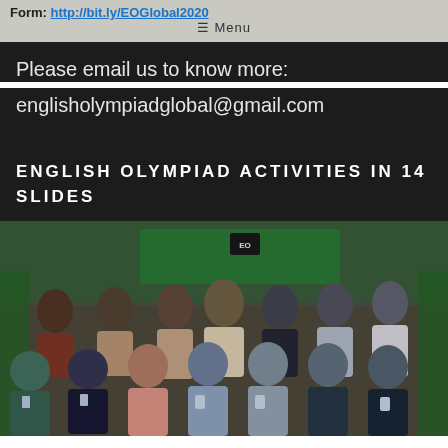Form: http://bit.ly/EOGlobal2020
☰ Menu
Please email us to know more:
englisholympiadglobal@gmail.com
ENGLISH OLYMPIAD ACTIVITIES IN 14 SLIDES
[Figure (photo): Group photo of English Olympiad participants and organizers posing on stage in front of a banner. Front row seated/kneeling participants hold trophies/certificates. Back row standing includes organizers and dignitaries.]